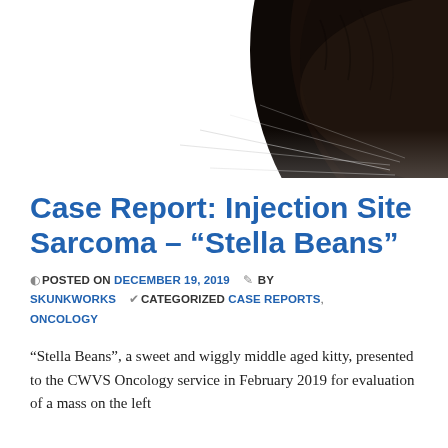[Figure (photo): Close-up photograph of a dark/black cat, showing fur and whiskers on a white background. The cat's head/back is visible from above.]
Case Report: Injection Site Sarcoma – “Stella Beans”
POSTED ON DECEMBER 19, 2019  BY SKUNKWORKS  CATEGORIZED CASE REPORTS, ONCOLOGY
“Stella Beans”, a sweet and wiggly middle aged kitty, presented to the CWVS Oncology service in February 2019 for evaluation of a mass on the left